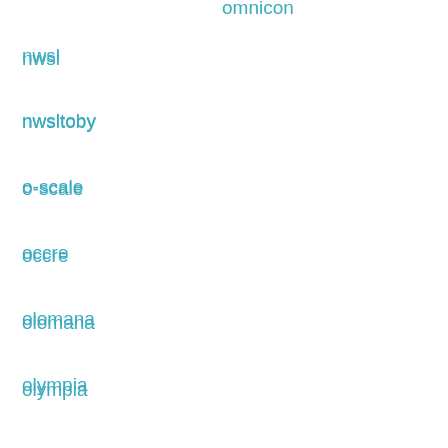nwsl
nwsltoby
o-scale
occre
olomana
olympia
omnicon
on30
oorail
operate
oriental
overland
pacific